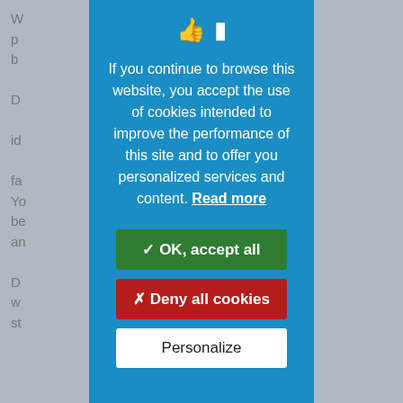[Figure (screenshot): Blurred background webpage content visible on left and right sides of the cookie consent modal]
If you continue to browse this website, you accept the use of cookies intended to improve the performance of this site and to offer you personalized services and content. Read more
✓ OK, accept all
✗ Deny all cookies
Personalize